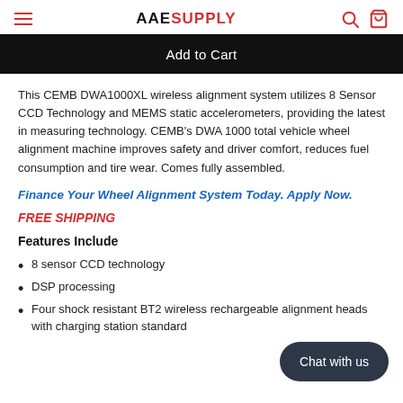AAE SUPPLY
Add to Cart
This CEMB DWA1000XL wireless alignment system utilizes 8 Sensor CCD Technology and MEMS static accelerometers, providing the latest in measuring technology. CEMB's DWA 1000 total vehicle wheel alignment machine improves safety and driver comfort, reduces fuel consumption and tire wear. Comes fully assembled.
Finance Your Wheel Alignment System Today. Apply Now.
FREE SHIPPING
Features Include
8 sensor CCD technology
DSP processing
Four shock resistant BT2 wireless rechargeable alignment heads with charging station standard